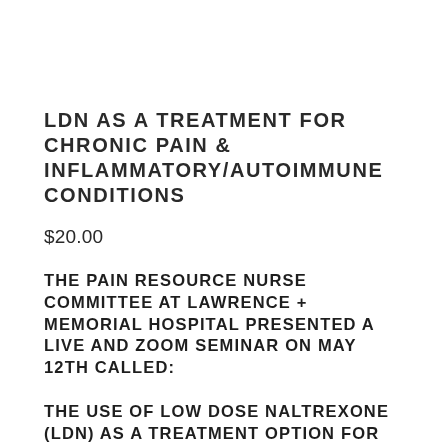LDN AS A TREATMENT FOR CHRONIC PAIN & INFLAMMATORY/AUTOIMMUNE CONDITIONS
$20.00
THE PAIN RESOURCE NURSE COMMITTEE AT LAWRENCE + MEMORIAL HOSPITAL PRESENTED A LIVE AND ZOOM SEMINAR ON MAY 12TH CALLED:
THE USE OF LOW DOSE NALTREXONE (LDN) AS A TREATMENT OPTION FOR CHRONIC PAIN & OTHER INFLAMMATORY/AUTOIMMUNE